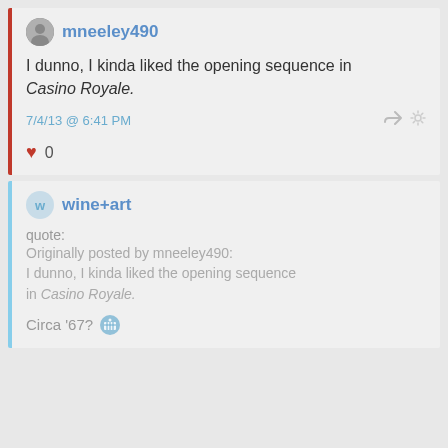mneeley490
I dunno, I kinda liked the opening sequence in Casino Royale.
7/4/13 @ 6:41 PM
♥ 0
wine+art
quote:
Originally posted by mneeley490:
I dunno, I kinda liked the opening sequence in Casino Royale.
Circa '67?